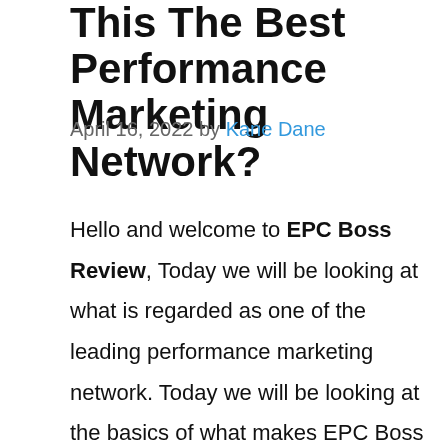This The Best Performance Marketing Network?
April 16, 2022 by Kane Dane
Hello and welcome to EPC Boss Review, Today we will be looking at what is regarded as one of the leading performance marketing network. Today we will be looking at the basics of what makes EPC Boss a must-have for affiliates and